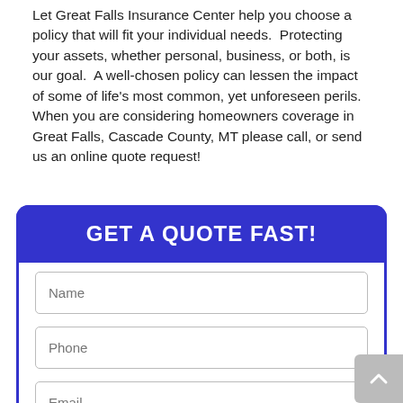Let Great Falls Insurance Center help you choose a policy that will fit your individual needs. Protecting your assets, whether personal, business, or both, is our goal. A well-chosen policy can lessen the impact of some of life's most common, yet unforeseen perils. When you are considering homeowners coverage in Great Falls, Cascade County, MT please call, or send us an online quote request!
GET A QUOTE FAST!
[Figure (other): Online quote form with fields for Name, Phone, and Email on a white background inside a blue rounded box.]